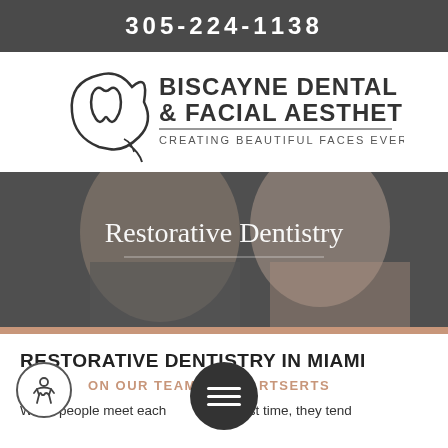305-224-1138
[Figure (logo): Biscayne Dental & Facial Aesthetics logo with face/tooth silhouette icon. Text: BISCAYNE DENTAL & FACIAL AESTHETICS – CREATING BEAUTIFUL FACES EVERY DAY]
[Figure (photo): Hero photo of a smiling man and woman, overlaid with text 'Restorative Dentistry' and a horizontal rule. Rose-gold accent bar at bottom.]
RESTORATIVE DENTISTRY IN MIAMI
ON OUR TEAM OF EXPERTS
When people meet each other for the first time, they tend